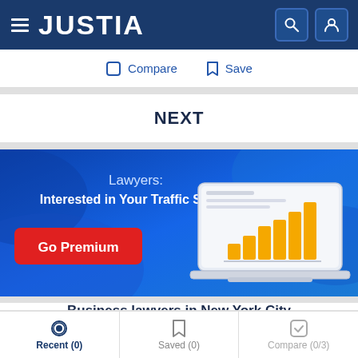JUSTIA
Compare   Save
NEXT
[Figure (screenshot): Justia promotional banner on blue gradient background. Text reads 'Lawyers: Interested in Your Traffic Stats?' with a red 'Go Premium' button and an illustration of a laptop showing a bar chart with orange bars.]
Recent (0)   Saved (0)   Compare (0/3)